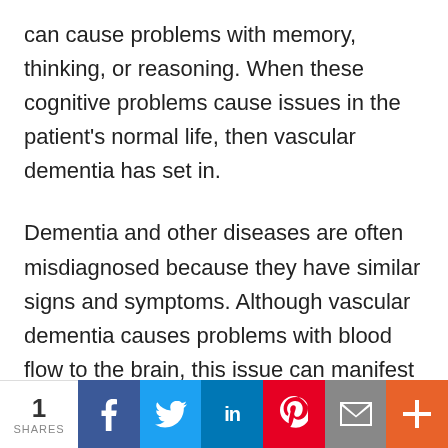can cause problems with memory, thinking, or reasoning. When these cognitive problems cause issues in the patient's normal life, then vascular dementia has set in.
Dementia and other diseases are often misdiagnosed because they have similar signs and symptoms. Although vascular dementia causes problems with blood flow to the brain, this issue can manifest in different ways. Examples of vascular dementia include.